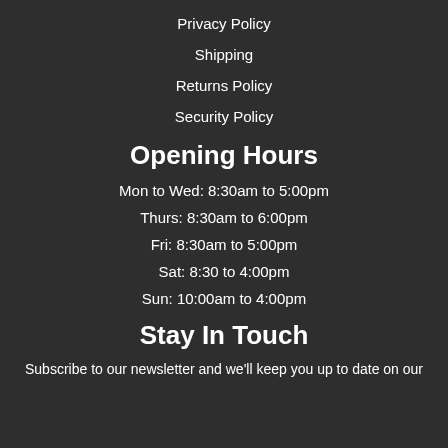Privacy Policy
Shipping
Returns Policy
Security Policy
Opening Hours
Mon to Wed: 8:30am to 5:00pm
Thurs: 8:30am to 6:00pm
Fri: 8:30am to 5:00pm
Sat: 8:30 to 4:00pm
Sun: 10:00am to 4:00pm
Stay In Touch
Subscribe to our newsletter and we'll keep you up to date on our